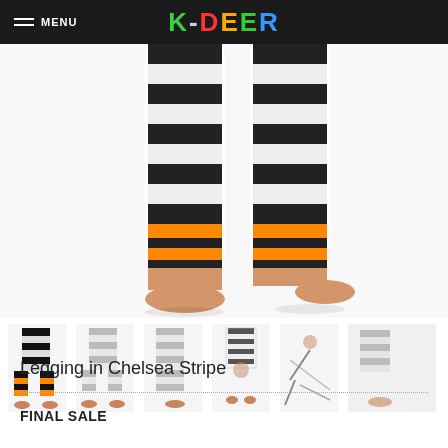MENU   K-DEER
[Figure (photo): Close-up of legs wearing black and white striped leggings with orange and black striped cuffs at the ankles, bare feet visible, white background]
[Figure (photo): Thumbnail strip showing 6 views of the Chelsea Stripe legging: front view with black/orange stripes, grey stripe front, grey stripe side, full body front, yoga pose, partial view]
Legging in Chelsea Stripe
FINAL SALE